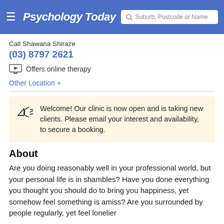Psychology Today — Suburb, Postcode or Name
Call Shawana Shiraze
(03) 8797 2621
Offers online therapy
Other Location +
Welcome! Our clinic is now open and is taking new clients. Please email your interest and availability, to secure a booking.
About
Are you doing reasonably well in your professional world, but your personal life is in shambles? Have you done everything you thought you should do to bring you happiness, yet somehow feel something is amiss? Are you surrounded by people regularly, yet feel lonelier